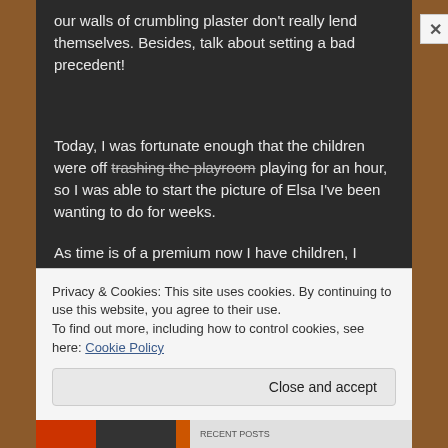our walls of crumbling plaster don't really lend themselves. Besides, talk about setting a bad precedent!
Today, I was fortunate enough that the children were off trashing the playroom playing for an hour, so I was able to start the picture of Elsa I've been wanting to do for weeks.
As time is of a premium now I have children, I decided to
Privacy & Cookies: This site uses cookies. By continuing to use this website, you agree to their use.
To find out more, including how to control cookies, see here: Cookie Policy
Close and accept